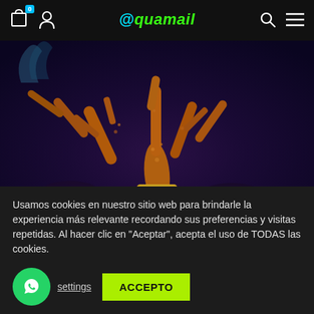@quamail — navigation bar with cart (0), user, search, and menu icons
[Figure (photo): Close-up photograph of branching coral (brown/orange textured coral frag) mounted on a dark substrate, with a purple/dark aquarium background. The coral has small polyps visible on its branches.]
Usamos cookies en nuestro sitio web para brindarle la experiencia más relevante recordando sus preferencias y visitas repetidas. Al hacer clic en "Aceptar", acepta el uso de TODAS las cookies.
settings
ACCEPTO